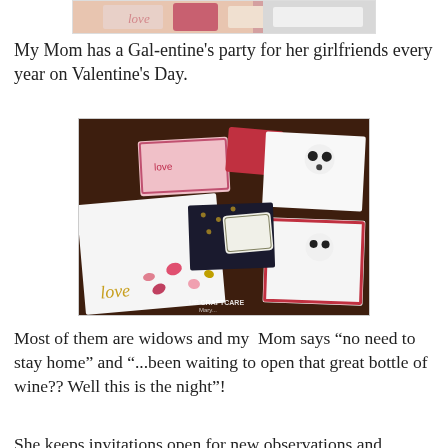[Figure (photo): Top portion of a Valentine's Day crafts photo showing cards and decorations with pink and red colors, partially cropped]
My Mom has a Gal-entine's party for her girlfriends every year on Valentine's Day.
[Figure (photo): A flat lay photo of Valentine's Day handmade cards and craft items including a 'love' card with hearts, panda cards, a black polka dot envelope, and heart confetti scattered on a dark wood surface. Watermark reads 'UP CRAFTCARE Mary...']
Most of them are widows and my  Mom says “no need to stay home” and “...been waiting to open that great bottle of wine?? Well this is the night”!
She keeps invitations open for new observations and